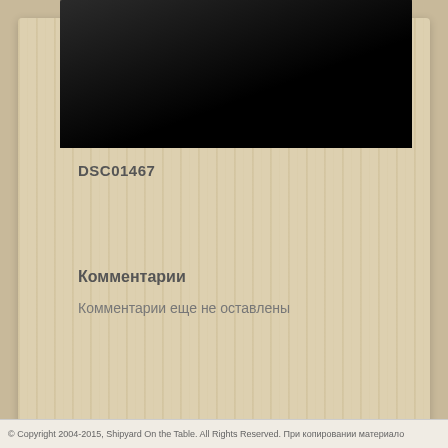[Figure (photo): Dark/black photograph area at the top of the wood-textured card]
DSC01467
Комментарии
Комментарии еще не оставлены
© Copyright 2004-2015, Shipyard On the Table. All Rights Reserved. При копировании материало